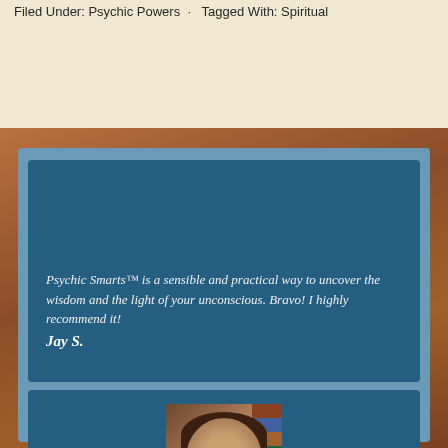Filed Under: Psychic Powers · Tagged With: Spiritual
Psychic Smarts™ is a sensible and practical way to uncover the wisdom and the light of your unconscious. Bravo! I highly recommend it! Jay S.
[Figure (photo): Photo of a woman with brown hair, smiling, in front of bookshelves]
I'm amazed by the number of different techniques offered in